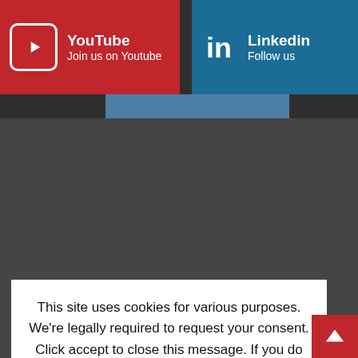[Figure (screenshot): Social media buttons: YouTube (red, 'Join us on Youtube'), LinkedIn (blue, 'Follow us'), Instagram (medium blue, 'Join us on Instag...')]
This site uses cookies for various purposes. We're legally required to request your consent. Click accept to close this message. If you do not agree, please immediately exit the service or click more to learn why.
Accept
More
...ecause of His Hall
...ontinues –
Op-Ed: Parenting Is More Than Being A Frien...